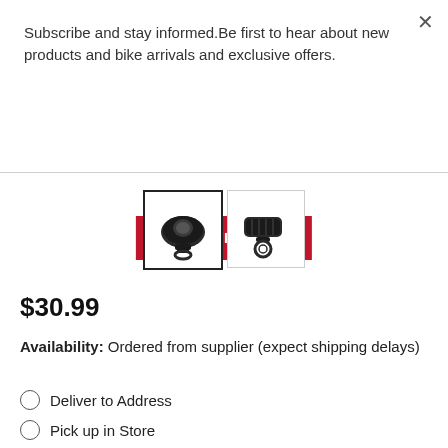Subscribe and stay informed.Be first to hear about new products and bike arrivals and exclusive offers.
BE FIRST
[Figure (photo): Two product thumbnail images of a bicycle light (front view and side view)]
$30.99
Availability: Ordered from supplier (expect shipping delays)
Deliver to Address
Pick up in Store